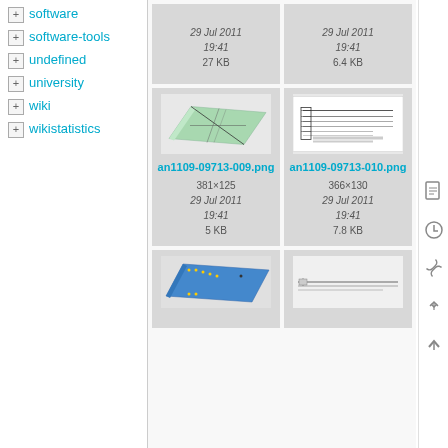software
software-tools
undefined
university
wiki
wikistatistics
[Figure (screenshot): File browser grid showing image files: an1109-09713-009.png (381×125, 29 Jul 2011 19:41, 5 KB) and an1109-09713-010.png (366×130, 29 Jul 2011 19:41, 7.8 KB), plus partial views of adjacent cards showing dates 29 Jul 2011 19:41, sizes 27 KB and 6.4 KB, and bottom row thumbnails of circuit/panel images.]